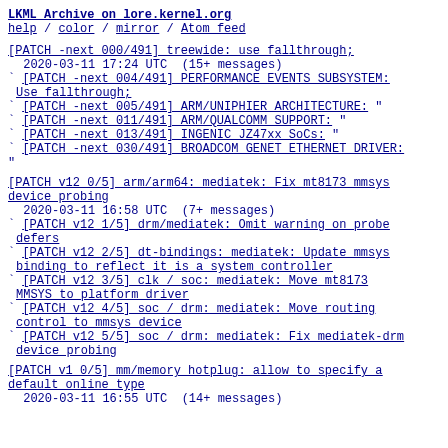LKML Archive on lore.kernel.org
help / color / mirror / Atom feed
[PATCH -next 000/491] treewide: use fallthrough;
2020-03-11 17:24 UTC  (15+ messages)
` [PATCH -next 004/491] PERFORMANCE EVENTS SUBSYSTEM: Use fallthrough;
` [PATCH -next 005/491] ARM/UNIPHIER ARCHITECTURE: "
` [PATCH -next 011/491] ARM/QUALCOMM SUPPORT: "
` [PATCH -next 013/491] INGENIC JZ47xx SoCs: "
` [PATCH -next 030/491] BROADCOM GENET ETHERNET DRIVER: "
[PATCH v12 0/5] arm/arm64: mediatek: Fix mt8173 mmsys device probing
2020-03-11 16:58 UTC  (7+ messages)
` [PATCH v12 1/5] drm/mediatek: Omit warning on probe defers
` [PATCH v12 2/5] dt-bindings: mediatek: Update mmsys binding to reflect it is a system controller
` [PATCH v12 3/5] clk / soc: mediatek: Move mt8173 MMSYS to platform driver
` [PATCH v12 4/5] soc / drm: mediatek: Move routing control to mmsys device
` [PATCH v12 5/5] soc / drm: mediatek: Fix mediatek-drm device probing
[PATCH v1 0/5] mm/memory hotplug: allow to specify a default online type
2020-03-11 16:55 UTC  (14+ messages)